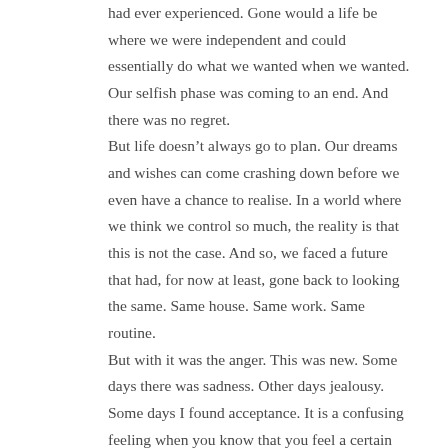had ever experienced.  Gone would a life be where we were independent and could essentially do what we wanted when we wanted.  Our selfish phase was coming to an end.  And there was no regret.

But life doesn't always go to plan.  Our dreams and wishes can come crashing down before we even have a chance to realise.  In a world where we think we control so much, the reality is that this is not the case.  And so, we faced a future that had, for now at least, gone back to looking the same.  Same house.  Same work.  Same routine.

But with it was the anger.  This was new.  Some days there was sadness.  Other days jealousy.  Some days I found acceptance.  It is a confusing feeling when you know that you feel a certain way, a way that is unfamiliar to anything you have felt before and yet you don't want to feel that way.  And at the same time you don't want to not feel it because then it wouldn't be real.  And for all that is was, it was real.  And it was ours.  Then it was gone.

And so, one day while watching Bethenny Frankel on Real